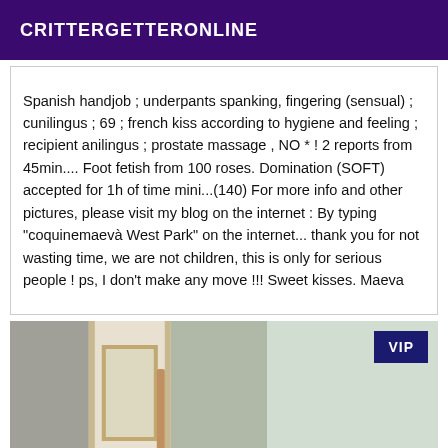CRITTERGETTERONLINE
Spanish handjob ; underpants spanking, fingering (sensual) ; cunilingus ; 69 ; french kiss according to hygiene and feeling ; recipient anilingus ; prostate massage , NO * ! 2 reports from 45min.... Foot fetish from 100 roses. Domination (SOFT) accepted for 1h of time mini...(140) For more info and other pictures, please visit my blog on the internet : By typing "coquinemaevà West Park" on the internet... thank you for not wasting time, we are not children, this is only for serious people ! ps, I don't make any move !!! Sweet kisses. Maeva
[Figure (photo): Interior room photo showing a door and wall with VIP badge overlay in top right corner]